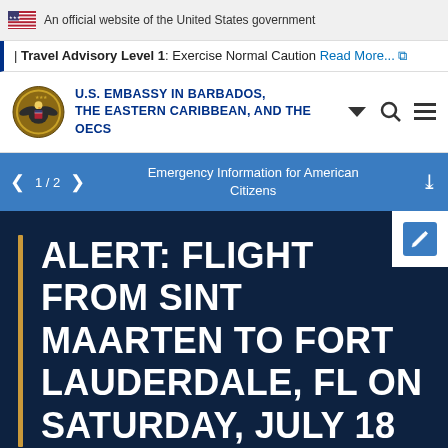An official website of the United States government
Travel Advisory Level 1: Exercise Normal Caution Read More...
[Figure (logo): U.S. Embassy seal with eagle]
U.S. EMBASSY IN BARBADOS, THE EASTERN CARIBBEAN, AND THE OECS
1 / 2  Emergency Information for American Citizens
ALERT: FLIGHT FROM SINT MAARTEN TO FORT LAUDERDALE, FL ON SATURDAY, JULY 18